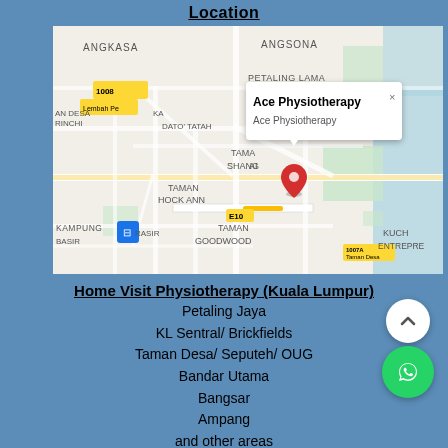Location
[Figure (map): Google Maps screenshot showing location of Ace Physiotherapy in Taman Shanghai area, Kuala Lumpur, with a red location pin and a popup showing 'Ace Physiotherapy'. Surrounding areas visible: Angkasa, Angsona, Petaling Lama, Taman Danau Desa, Taman Hock Ann, Kampung Basir, Taman Goodwood, KL Sentral area.]
Home Visit Physiotherapy (Kuala Lumpur)
Petaling Jaya
KL Sentral/ Brickfields
Taman Desa/ Seputeh/ OUG
Bandar Utama
Bangsar
Ampang
and other areas
2020 Ace Physiotherapy. Proudly owned by REHAB CONSULTING (002837377-T)